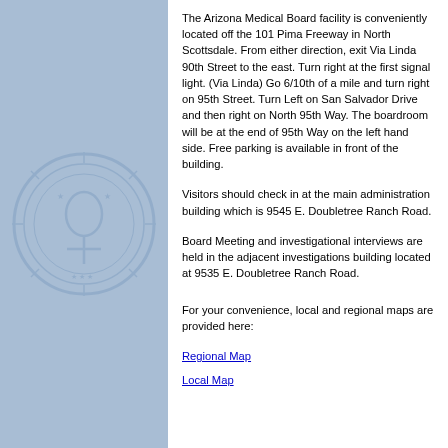[Figure (illustration): Light blue left panel with a faint watermark seal of the Arizona Medical Board]
The Arizona Medical Board facility is conveniently located off the 101 Pima Freeway in North Scottsdale. From either direction, exit Via Linda 90th Street to the east. Turn right at the first signal light. (Via Linda) Go 6/10th of a mile and turn right on 95th Street. Turn Left on San Salvador Drive and then right on North 95th Way. The boardroom will be at the end of 95th Way on the left hand side. Free parking is available in front of the building.
Visitors should check in at the main administration building which is 9545 E. Doubletree Ranch Road.
Board Meeting and investigational interviews are held in the adjacent investigations building located at 9535 E. Doubletree Ranch Road.
For your convenience, local and regional maps are provided here:
Regional Map
Local Map